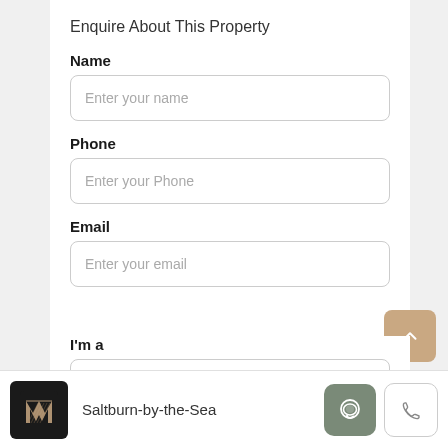Enquire About This Property
Name
Enter your name
Phone
Enter your Phone
Email
Enter your email
I'm a
Saltburn-by-the-Sea
Saltburn-by-the-Sea